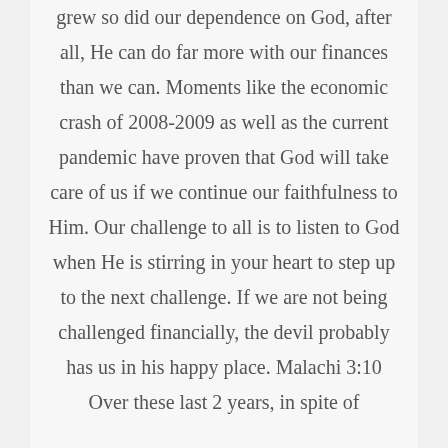grew so did our dependence on God, after all, He can do far more with our finances than we can. Moments like the economic crash of 2008-2009 as well as the current pandemic have proven that God will take care of us if we continue our faithfulness to Him. Our challenge to all is to listen to God when He is stirring in your heart to step up to the next challenge. If we are not being challenged financially, the devil probably has us in his happy place. Malachi 3:10 Over these last 2 years, in spite of